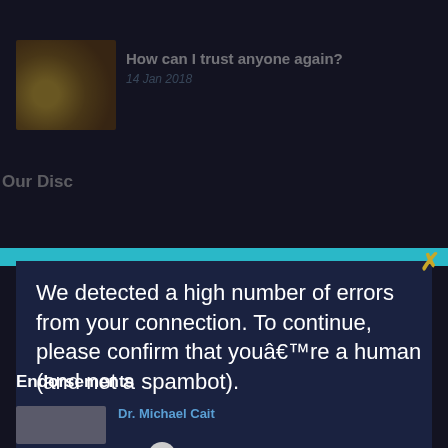[Figure (screenshot): Website background showing article with thumbnail image, title 'How can I trust anyone again?', date '14 Jan 2018', sidebar partial text 'Our Disc', endorsements section, and a reCAPTCHA modal dialog overlay.]
How can I trust anyone again?
14 Jan 2018
Our Disc
Endorsements
Dr. Michael Cait
We detected a high number of errors from your connection. To continue, please confirm that youâre a human (and not a spambot).
I'm not a robot
reCAPTCHA
Privacy · Terms